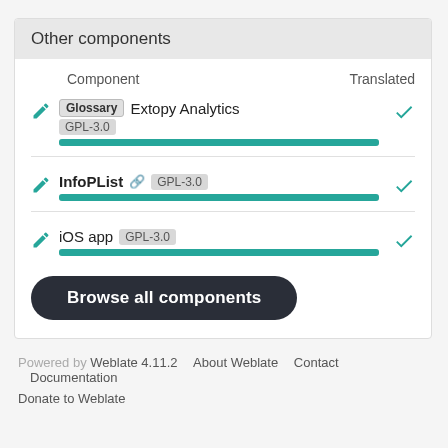Other components
| Component | Translated |
| --- | --- |
| Glossary  Extopy Analytics  GPL-3.0 | ✓ |
| InfoPList ↔ GPL-3.0 | ✓ |
| iOS app GPL-3.0 | ✓ |
Browse all components
Powered by Weblate 4.11.2  About Weblate  Contact  Documentation  Donate to Weblate